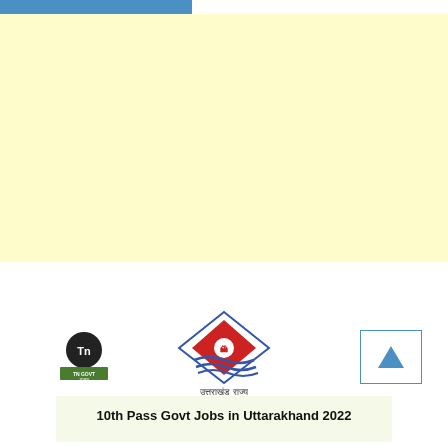[Figure (other): Blue horizontal bar at top left of page]
[Figure (other): Large light yellow/cream rectangular block filling upper portion of page]
[Figure (logo): TN Govt Jobs small square logo with black circle and green label]
[Figure (logo): Uttarakhand state emblem logo with diamond shape, mountains and waves motif, with text उत्तराखंड राज्य below]
[Figure (other): Blue bordered box with blue upward triangle arrow (scroll-to-top button)]
10th Pass Govt Jobs in Uttarakhand 2022